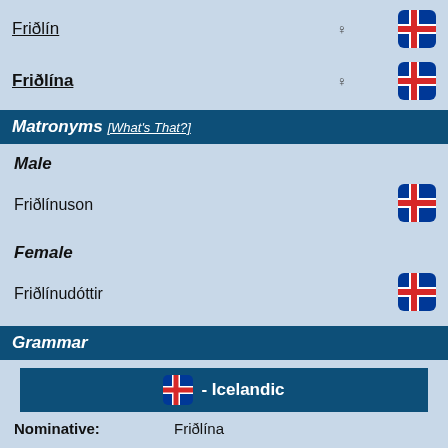Friðlín ♀ [Iceland flag]
Friðlína ♀ [Iceland flag]
Matronyms [What's That?]
Male
Friðlínuson [Iceland flag]
Female
Friðlínudóttir [Iceland flag]
Grammar
- Icelandic
Nominative: Friðlína